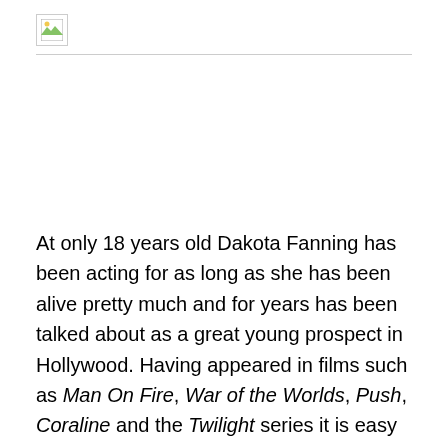[Figure (photo): Broken/missing image placeholder icon in top-left area]
At only 18 years old Dakota Fanning has been acting for as long as she has been alive pretty much and for years has been talked about as a great young prospect in Hollywood. Having appeared in films such as Man On Fire, War of the Worlds, Push, Coraline and the Twilight series it is easy to see why.